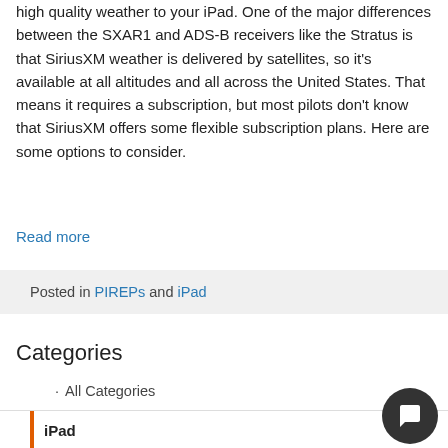high quality weather to your iPad. One of the major differences between the SXAR1 and ADS-B receivers like the Stratus is that SiriusXM weather is delivered by satellites, so it's available at all altitudes and all across the United States. That means it requires a subscription, but most pilots don't know that SiriusXM offers some flexible subscription plans. Here are some options to consider.
Read more
Posted in PIREPs and iPad
Categories
All Categories
iPad